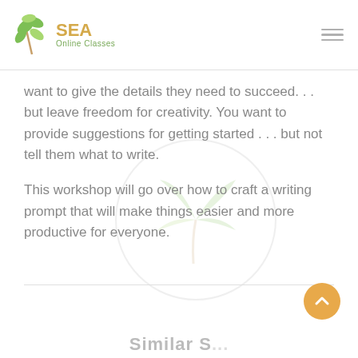SEA Online Classes
want to give the details they need to succeed. . . but leave freedom for creativity. You want to provide suggestions for getting started . . . but not tell them what to write.
This workshop will go over how to craft a writing prompt that will make things easier and more productive for everyone.
Similar S...